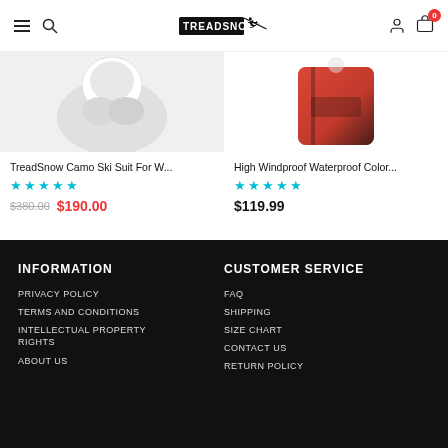TreadSnow navigation header with hamburger menu, search icon, logo, user icon, and cart (0)
[Figure (photo): Product image of TreadSnow Camo Ski Suit For W... with white helmet/gear on light background]
TreadSnow Camo Ski Suit For W...
★★★★★
$380.00  $190.00
[Figure (photo): Product image of High Windproof Waterproof Color... with red and black ski jacket on white background]
High Windproof Waterproof Color...
★★★★★
$119.99
INFORMATION
PRIVACY POLICY
TERMS AND CONDITIONS
INTELLECTUAL PROPERTY RIGHTS
ABOUT US
CUSTOMER SERVICE
FAQ
SHIPPING
SIZE CHART
CONTACT US
RETURN POLICY